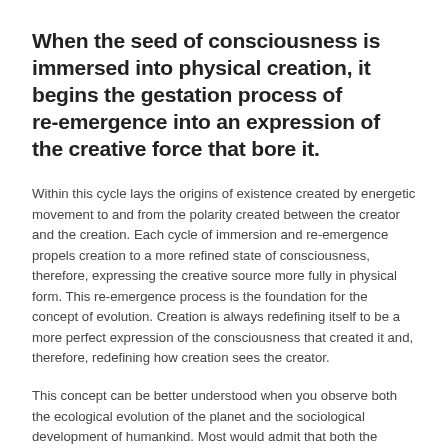When the seed of consciousness is immersed into physical creation, it begins the gestation process of re-emergence into an expression of the creative force that bore it.
Within this cycle lays the origins of existence created by energetic movement to and from the polarity created between the creator and the creation. Each cycle of immersion and re-emergence propels creation to a more refined state of consciousness, therefore, expressing the creative source more fully in physical form. This re-emergence process is the foundation for the concept of evolution. Creation is always redefining itself to be a more perfect expression of the consciousness that created it and, therefore, redefining how creation sees the creator.
This concept can be better understood when you observe both the ecological evolution of the planet and the sociological development of humankind. Most would admit that both the planet and its inhabitants are in perpetual motion and change. There is an intentional purpose for this developmental process. It is not to infer